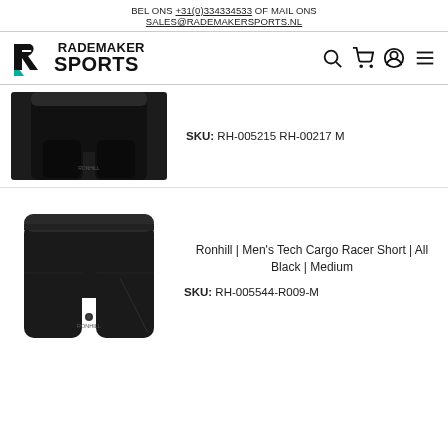BEL ONS +31(0)334334533 OF MAIL ONS SALES@RADEMAKERSPORTS.NL
[Figure (logo): Rademaker Sports logo with stylized R icon and brand name]
SKU: RH-005215 RH-00217 M
[Figure (photo): Black running shorts product photo (top product, cropped)]
Ronhill | Men's Tech Cargo Racer Short | All Black | Medium
SKU: RH-005544-R009-M
[Figure (photo): Black Ronhill Men's Tech Cargo Racer Short product photo]